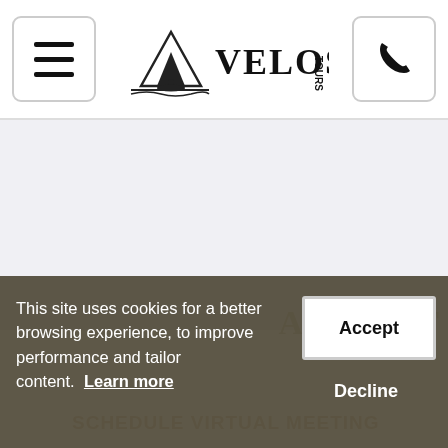[Figure (logo): Veloso Tours logo with mountain/kayak icon and text VELOSO TOURS]
[Figure (screenshot): Navigation bar with hamburger menu button on left, Veloso Tours logo in center, phone button on right]
[Figure (screenshot): Light gray main content area below navbar, partially obscured by cookie banner. Background text reads ARGENTI... and SCHEDULE VIRTUAL MEETING]
This site uses cookies for a better browsing experience, to improve performance and tailor content. Learn more
Accept
Decline